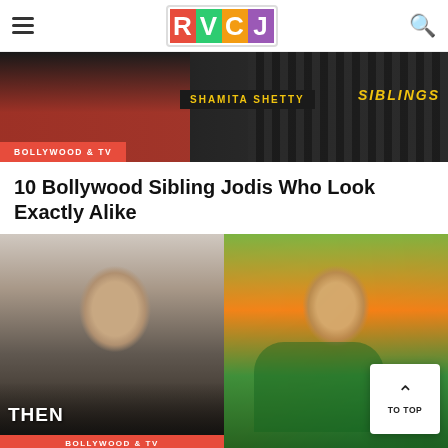RVCJ
[Figure (photo): Banner image showing Shamita Shetty in a red outfit against a dark background, with text overlays 'SHAMITA SHETTY' and 'SIBLINGS']
BOLLYWOOD & TV
10 Bollywood Sibling Jodis Who Look Exactly Alike
[Figure (photo): Two side-by-side photos: left shows a woman in a black outfit (then), right shows a woman in a green traditional dance outfit]
THEN
BOLLYWOOD & TV